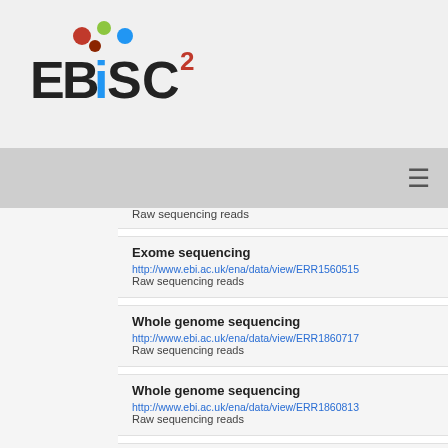[Figure (logo): EBiSC2 logo with colorful dots above letters]
Navigation bar with hamburger menu icon
Raw sequencing reads
Exome sequencing
http://www.ebi.ac.uk/ena/data/view/ERR1560515
Raw sequencing reads
Whole genome sequencing
http://www.ebi.ac.uk/ena/data/view/ERR1860717
Raw sequencing reads
Whole genome sequencing
http://www.ebi.ac.uk/ena/data/view/ERR1860813
Raw sequencing reads
Genotyping array
http://www.ebi.ac.uk/ena/data/view/ERZ368729
Genotyping array cells